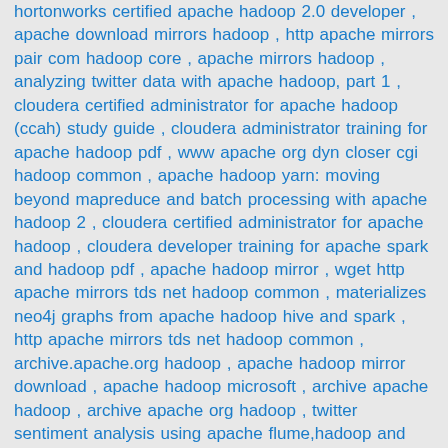hortonworks certified apache hadoop 2.0 developer , apache download mirrors hadoop , http apache mirrors pair com hadoop core , apache mirrors hadoop , analyzing twitter data with apache hadoop, part 1 , cloudera certified administrator for apache hadoop (ccah) study guide , cloudera administrator training for apache hadoop pdf , www apache org dyn closer cgi hadoop common , apache hadoop yarn: moving beyond mapreduce and batch processing with apache hadoop 2 , cloudera certified administrator for apache hadoop , cloudera developer training for apache spark and hadoop pdf , apache hadoop mirror , wget http apache mirrors tds net hadoop common , materializes neo4j graphs from apache hadoop hive and spark , http apache mirrors tds net hadoop common , archive.apache.org hadoop , apache hadoop mirror download , apache hadoop microsoft , archive apache hadoop , archive apache org hadoop , twitter sentiment analysis using apache flume,hadoop and hive — part 4 , apache hadoop big data technologies , wget http apache mesi com ar hadoop common , apache sqoop materializes neo4j graphs from apache hadoop, hive and spark. , apache hadoop download mirror , relationship between the apache hadoop ecosystem and the data lake